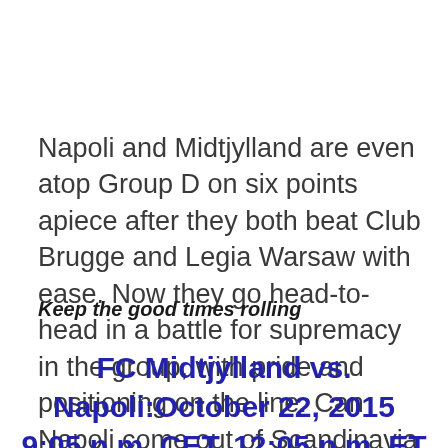Napoli and Midtjylland are even atop Group D on six points apiece after they both beat Club Brugge and Legia Warsaw with ease. Now they go head-to-head in a battle for supremacy in the group, with pride and positioning on the line. Can Napoli come out of Scandinavia with all three points and a story of glorious battle? Only time will tell.
Keep the good times rolling
FC Midtjylland vs. Napoli:October 22, 2015
9:05 p.m. CET, 12:05 p.m. ET
Arena HerningHerning,
Denmark